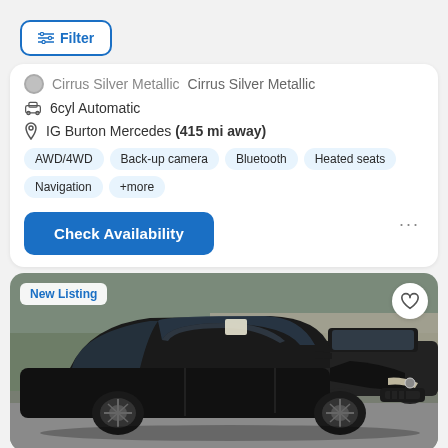Filter
Cirrus Silver Metallic
6cyl Automatic
IG Burton Mercedes (415 mi away)
AWD/4WD  Back-up camera  Bluetooth  Heated seats  Navigation  +more
Check Availability
[Figure (photo): Black Mercedes-Benz sedan parked in a lot, front three-quarter view, with a paper on the windshield. A black SUV is visible in the background. Badge reads 'New Listing'.]